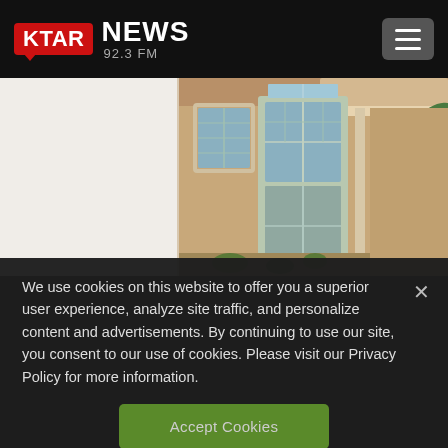[Figure (logo): KTAR News 92.3 FM logo — red rounded rectangle with KTAR in white bold text, speech bubble tail at bottom, followed by NEWS in large white bold text and 92.3 FM in gray below]
[Figure (photo): Exterior photo of a stucco house with large French windows and sliding glass doors, tile roof overhang, palm tree visible on right side]
We use cookies on this website to offer you a superior user experience, analyze site traffic, and personalize content and advertisements. By continuing to use our site, you consent to our use of cookies. Please visit our Privacy Policy for more information.
Accept Cookies